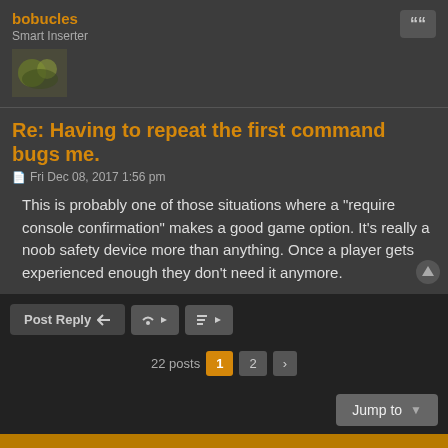bobucles
Smart Inserter
Re: Having to repeat the first command bugs me.
Fri Dec 08, 2017 1:56 pm
This is probably one of those situations where a "require console confirmation" makes a good game option. It's really a noob safety device more than anything. Once a player gets experienced enough they don't need it anymore.
Post Reply
22 posts  1  2
Jump to
Board index  Delete cookies  All times are UTC
Powered by phpBB® Forum Software © phpBB Limited  Privacy | Terms